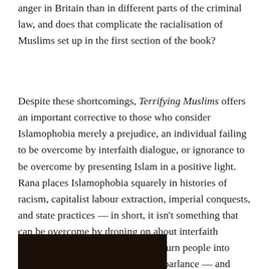anger in Britain than in different parts of the criminal law, and does that complicate the racialisation of Muslims set up in the first section of the book?
Despite these shortcomings, Terrifying Muslims offers an important corrective to those who consider Islamophobia merely a prejudice, an individual failing to be overcome by interfaith dialogue, or ignorance to be overcome by presenting Islam in a positive light. Rana places Islamophobia squarely in histories of racism, capitalist labour extraction, imperial conquests, and state practices — in short, it isn't something that can be overcome by droning on about interfaith dialogue while drones continue to turn people into “bug splats” — in the US military parlance — and places into free-fire kill zones.
[Figure (photo): Dark/black rectangular image, partially visible at the bottom of the page.]